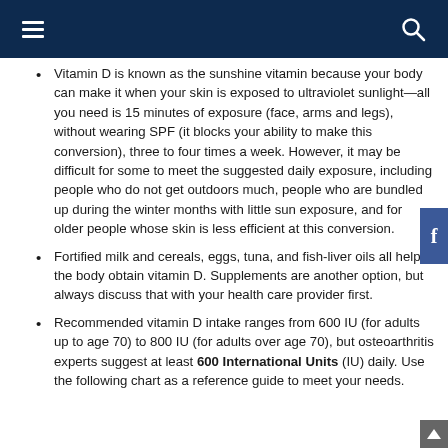Navigation header with hamburger menu and search icon
Vitamin D is known as the sunshine vitamin because your body can make it when your skin is exposed to ultraviolet sunlight—all you need is 15 minutes of exposure (face, arms and legs), without wearing SPF (it blocks your ability to make this conversion), three to four times a week. However, it may be difficult for some to meet the suggested daily exposure, including people who do not get outdoors much, people who are bundled up during the winter months with little sun exposure, and for older people whose skin is less efficient at this conversion.
Fortified milk and cereals, eggs, tuna, and fish-liver oils all help the body obtain vitamin D. Supplements are another option, but always discuss that with your health care provider first.
Recommended vitamin D intake ranges from 600 IU (for adults up to age 70) to 800 IU (for adults over age 70), but osteoarthritis experts suggest at least 600 International Units (IU) daily. Use the following chart as a reference guide to meet your needs.